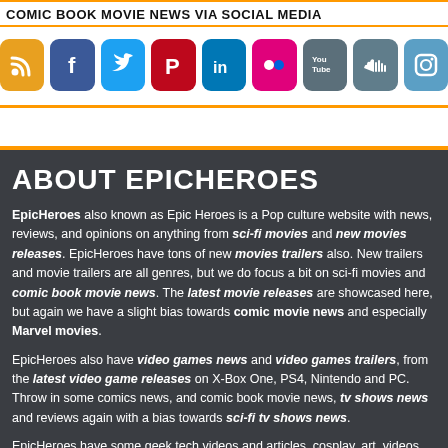COMIC BOOK MOVIE NEWS VIA SOCIAL MEDIA
[Figure (infographic): Row of 9 social media icon buttons: RSS (orange), Facebook (dark blue), Twitter (light blue), Pinterest (red), LinkedIn (teal), Flickr (magenta), YouTube (slate), SoundCloud (dark slate), Instagram (blue)]
ABOUT EPICHEROES
EpicHeroes also known as Epic Heroes is a Pop culture website with news, reviews,  and opinions on anything from sci-fi movies and new movies releases. EpicHeroes have tons of new movies trailers also. New trailers and movie trailers are all genres, but we do focus a bit on sci-fi movies and comic book movie news. The latest movie releases are showcased here, but again we have a slight bias towards comic movie news and especially Marvel movies.
EpicHeroes also have video games news and video games trailers, from the latest video game releases on X-Box One, PS4, Nintendo and PC. Throw in some comics news, and comic book movie news, tv shows news and reviews again with a bias towards sci-fi tv shows news.
EpicHeroes have some geek tech videos and articles, cosplay, art, videos and so much more. We also sell lots of cool gear, gadgets, toys and